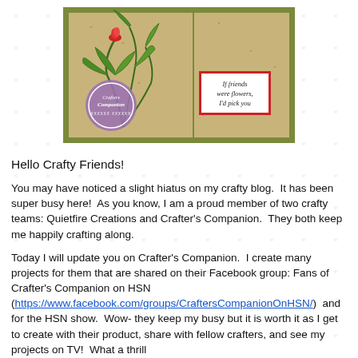[Figure (illustration): A handmade greeting card featuring botanical illustration with green leaves and a red flower bud on a kraft-paper background. A purple circular Crafter's Companion stamp/logo is on the lower left. A small white text box reads 'If friends were flowers, I'd pick you'. The card has olive green mat borders.]
Hello Crafty Friends!
You may have noticed a slight hiatus on my crafty blog.  It has been super busy here!  As you know, I am a proud member of two crafty teams: Quietfire Creations and Crafter's Companion.  They both keep me happily crafting along.
Today I will update you on Crafter's Companion.  I create many projects for them that are shared on their Facebook group: Fans of Crafter's Companion on HSN (https://www.facebook.com/groups/CraftersCompanionOnHSN/)  and for the HSN show.  Wow- they keep my busy but it is worth it as I get to create with their product, share with fellow crafters, and see my projects on TV!  What a thrill